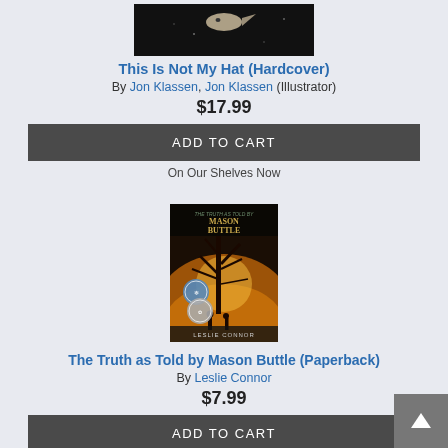[Figure (photo): Book cover for 'This Is Not My Hat' — dark background with a small fish visible at top]
This Is Not My Hat (Hardcover)
By Jon Klassen, Jon Klassen (Illustrator)
$17.99
ADD TO CART
On Our Shelves Now
[Figure (photo): Book cover for 'The Truth as Told by Mason Buttle' by Leslie Connor — dark cover with golden tree silhouette and two award medal badges]
The Truth as Told by Mason Buttle (Paperback)
By Leslie Connor
$7.99
ADD TO CART
On Our Shelves Now